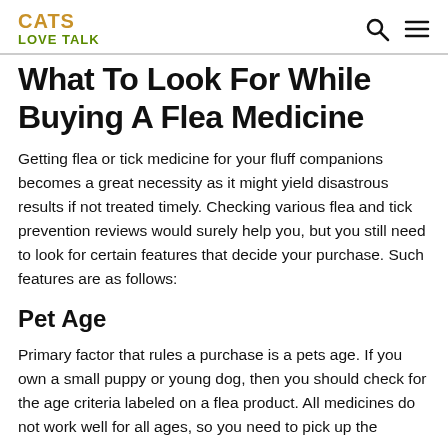CATS LOVE TALK
What To Look For While Buying A Flea Medicine
Getting flea or tick medicine for your fluff companions becomes a great necessity as it might yield disastrous results if not treated timely. Checking various flea and tick prevention reviews would surely help you, but you still need to look for certain features that decide your purchase. Such features are as follows:
Pet Age
Primary factor that rules a purchase is a pets age. If you own a small puppy or young dog, then you should check for the age criteria labeled on a flea product. All medicines do not work well for all ages, so you need to pick up the